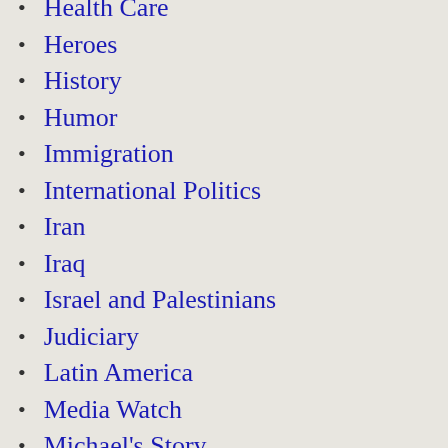Health Care
Heroes
History
Humor
Immigration
International Politics
Iran
Iraq
Israel and Palestinians
Judiciary
Latin America
Media Watch
Michael's Story
Mike's Letters
Mouthbreathers
Music
National Politics